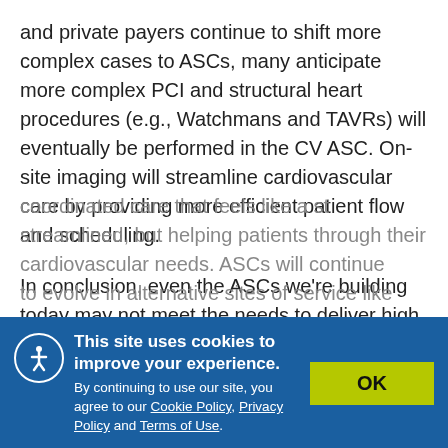and private payers continue to shift more complex cases to ASCs, many anticipate more complex PCI and structural heart procedures (e.g., Watchmans and TAVRs) will eventually be performed in the CV ASC. On-site imaging will streamline cardiovascular care by providing more efficient patient flow and scheduling.
In conclusion, even the ASCs we're building today may not meet the needs to deliver high quality comprehensive cardiovascular care over the next 10-20 years.  Having an ASC that covers diagnosis and intervention, as well as ongoing monitoring and delivering coordinated care that feels like a streamlined, but helping patients through their cardiovascular needs. ASCs will continue to evolve in alternative sites of service like
This site uses cookies to improve your experience. By continuing to use our site, you agree to our Cookie Policy, Privacy Policy and Terms of Use.